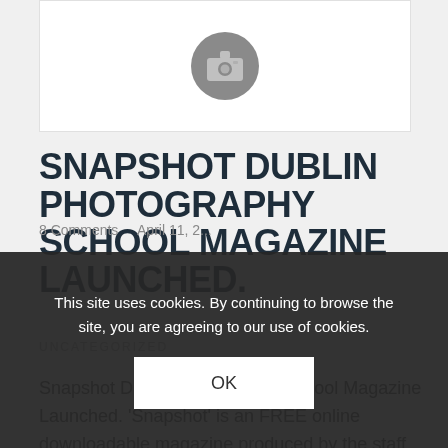[Figure (illustration): Image placeholder with a camera icon in a grey circle on a white background]
SNAPSHOT DUBLIN PHOTOGRAPHY SCHOOL MAGAZINE LAUNCHED.
UNCATEGORIZED
Snapshot Dublin Photography School Magazine Launched. 'Snapshot' is an FREE online downloadable magazine produced by the staff and trainers at the Dublin Photography School. In each issue we will bring you guest
8 Comments     April 11, 2...
This site uses cookies. By continuing to browse the site, you are agreeing to our use of cookies.